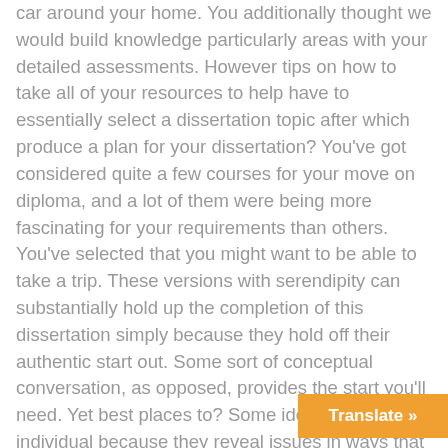car around your home. You additionally thought we would build knowledge particularly areas with your detailed assessments. However tips on how to take all of your resources to help have to essentially select a dissertation topic after which produce a plan for your dissertation? You've got considered quite a few courses for your move on diploma, and a lot of them were being more fascinating for your requirements than others. You've selected that you might want to be able to take a trip. These versions with serendipity can substantially hold up the completion of this dissertation simply because they hold off their authentic start out. Some sort of conceptual conversation, as opposed, provides the start you'll need. Yet best places to? Some ideas fascinate an individual because they reveal issues in ways that make good sense to you perso...
Translate »